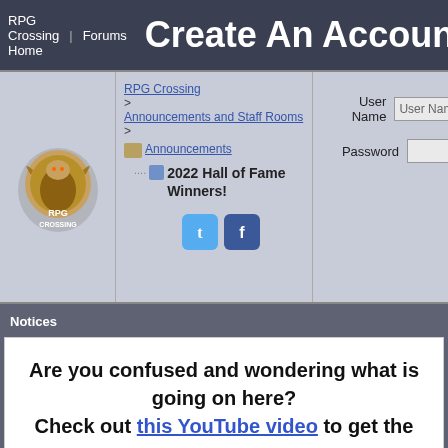RPG Crossing Home | Forums | Create An Account!
[Figure (logo): RPG Crossing logo - brown dragon emblem with text RPG CROSSING]
RPG Crossing > Announcements and Staff Rooms > Announcements > 2022 Hall of Fame Winners!
User Name [input] Remember Me? Password [input] Log in
Notices
Are you confused and wondering what is going on here? Check out this YouTube video to get the scoop.